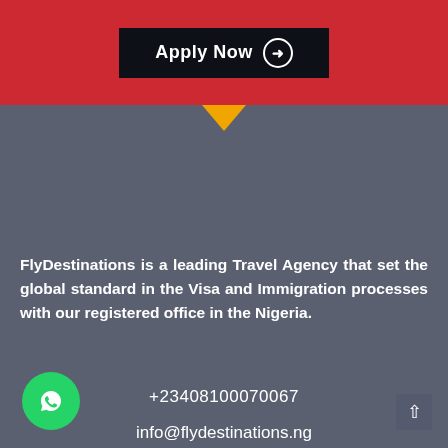[Figure (screenshot): Red banner section with a dark 'Apply Now' button with arrow icon]
[Figure (infographic): Dark grey footer section with yellow downward triangle indicator, company description, contact info, address, WhatsApp button, and scroll-to-top button]
FlyDestinations is a leading Travel Agency that set the global standard in the Visa and Immigration processes with our registered office in the Nigeria.
+23408100070067
info@flydestinations.ng
Flydestinations Travel Centre, First Floor, Oshopey Plaza No 17/19, Allen Avenue Ikeja Lagos. Ikeja 101212.